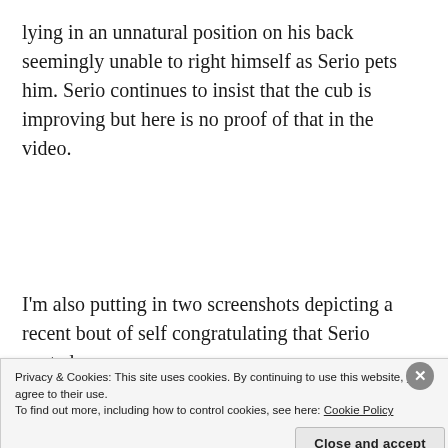lying in an unnatural position on his back seemingly unable to right himself as Serio pets him. Serio continues to insist that the cub is improving but here is no proof of that in the video.
I'm also putting in two screenshots depicting a recent bout of self congratulating that Serio posted.
[Figure (screenshot): Mobile phone screenshot showing AT&T LTE status bar at 7:42 AM, with a cookie consent banner overlay reading 'Privacy & Cookies: This site uses cookies. By continuing to use this website, you agree to their use. To find out more, including how to control cookies, see here: Cookie Policy' and a 'Close and accept' button, with a close X button in the upper right of the banner.]